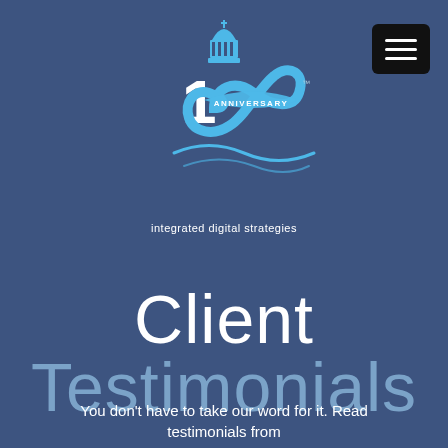[Figure (logo): IDS 100th Anniversary logo — a capitol building icon above a stylized '100' with an infinity ribbon and 'ANNIVERSARY' banner, with tagline 'integrated digital strategies' below]
[Figure (other): Hamburger menu icon — black rounded rectangle with three white horizontal lines]
Client Testimonials
You don't have to take our word for it. Read testimonials from